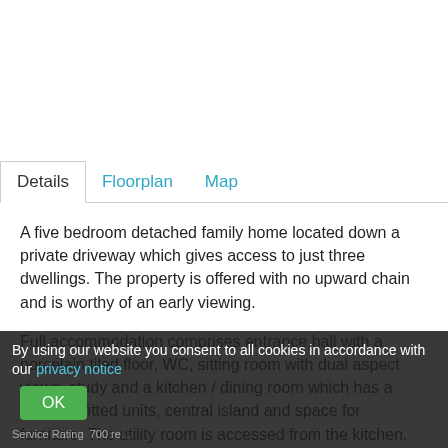[Figure (photo): Blank white area at top of page (image placeholder for property photo)]
Details | Floorplan | Map
A five bedroom detached family home located down a private driveway which gives access to just three dwellings. The property is offered with no upward chain and is worthy of an early viewing.
Full accommodation comprises entrance hall with a porcelain tiled floor, WC, sitting room with dual aspect views, study and a kitchen / dining room which has a range of fitted units, central island and space for furniture. The utility room is accessed from the kitchen.
To the first floor the principal bedroom has fresh wardrobes and a six piece en-suite, bedroom two... wardrobes and an en-suite; bedroom three t... along with a four piece
By using our website you consent to all cookies in accordance with our privacy notice OK